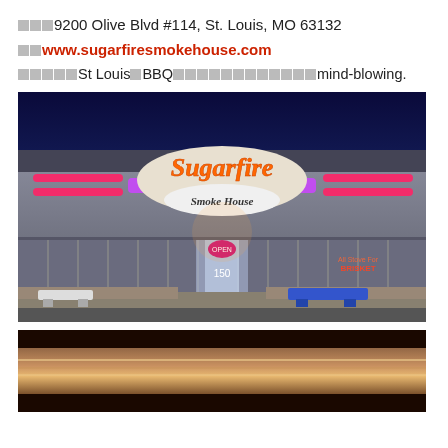□□□9200 Olive Blvd #114, St. Louis, MO 63132
□□www.sugarfiresmokehouse.com
□□□□□St Louis□BBQ□□□□□□□□□□□□mind-blowing.
[Figure (photo): Exterior nighttime photo of Sugarfire Smoke House restaurant with illuminated orange and pink neon signage on the storefront]
[Figure (photo): Close-up interior/detail photo of what appears to be a smoker or metal cooking surface]